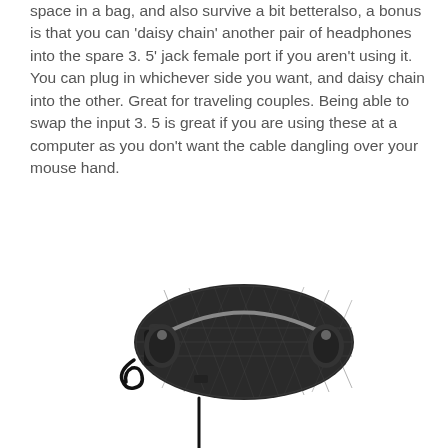space in a bag, and also survive a bit betteralso, a bonus is that you can 'daisy chain' another pair of headphones into the spare 3. 5' jack female port if you aren't using it. You can plug in whichever side you want, and daisy chain into the other. Great for traveling couples. Being able to swap the input 3. 5 is great if you are using these at a computer as you don't want the cable dangling over your mouse hand.
[Figure (photo): Black quilted over-ear headphones folded flat, shown from above on a white background, with a cable hanging down from the bottom.]